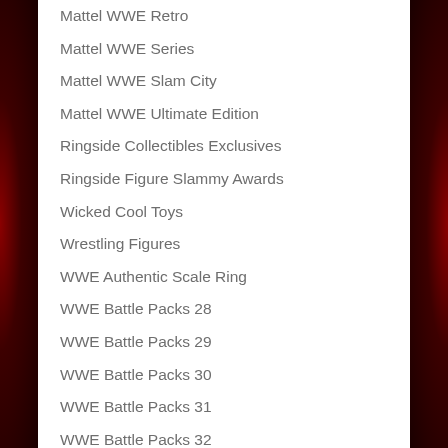Mattel WWE Retro
Mattel WWE Series
Mattel WWE Slam City
Mattel WWE Ultimate Edition
Ringside Collectibles Exclusives
Ringside Figure Slammy Awards
Wicked Cool Toys
Wrestling Figures
WWE Authentic Scale Ring
WWE Battle Packs 28
WWE Battle Packs 29
WWE Battle Packs 30
WWE Battle Packs 31
WWE Battle Packs 32
WWE Battle Packs 33
WWE Battle Packs 34
WWE Battle Packs 35
WWE Battle Packs 36
WWE Battle Packs 38